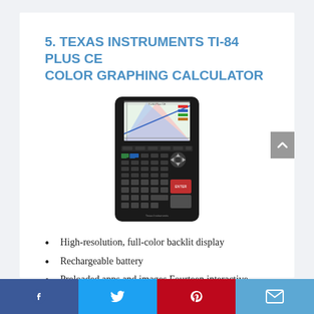5. TEXAS INSTRUMENTS TI-84 PLUS CE COLOR GRAPHING CALCULATOR
[Figure (photo): Texas Instruments TI-84 Plus CE color graphing calculator, showing the device with a color screen displaying a graph, black body with colored buttons.]
High-resolution, full-color backlit display
Rechargeable battery
Preloaded apps and images.Fourteen interactive zoom features
MathPrint feature.Seven different graph
Facebook | Twitter | Pinterest | Email